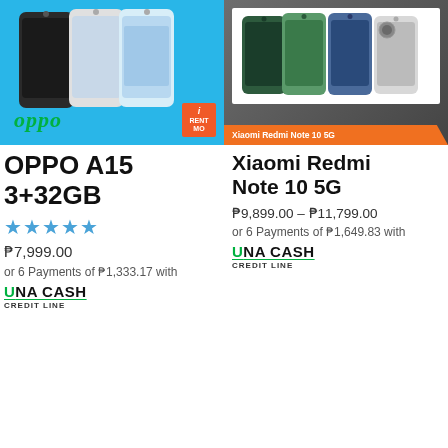[Figure (photo): OPPO A15 product image on blue background with OPPO logo and RentMo badge]
OPPO A15 3+32GB
★★★★★
₱7,999.00
or 6 Payments of ₱1,333.17 with
UNA CASH
CREDIT LINE
[Figure (photo): Xiaomi Redmi Note 10 5G product image on dark background with orange banner]
Xiaomi Redmi Note 10 5G
₱9,899.00 – ₱11,799.00
or 6 Payments of ₱1,649.83 with
UNA CASH
CREDIT LINE